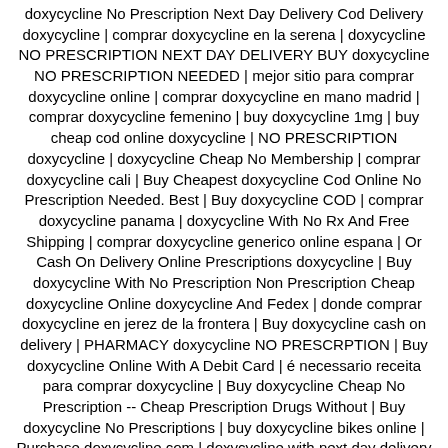doxycycline No Prescription Next Day Delivery Cod Delivery doxycycline | comprar doxycycline en la serena | doxycycline NO PRESCRIPTION NEXT DAY DELIVERY BUY doxycycline NO PRESCRIPTION NEEDED | mejor sitio para comprar doxycycline online | comprar doxycycline en mano madrid | comprar doxycycline femenino | buy doxycycline 1mg | buy cheap cod online doxycycline | NO PRESCRIPTION doxycycline | doxycycline Cheap No Membership | comprar doxycycline cali | Buy Cheapest doxycycline Cod Online No Prescription Needed. Best | Buy doxycycline COD | comprar doxycycline panama | doxycycline With No Rx And Free Shipping | comprar doxycycline generico online espana | Or Cash On Delivery Online Prescriptions doxycycline | Buy doxycycline With No Prescription Non Prescription Cheap doxycycline Online doxycycline And Fedex | donde comprar doxycycline en jerez de la frontera | Buy doxycycline cash on delivery | PHARMACY doxycycline NO PRESCRPTION | Buy doxycycline Online With A Debit Card | é necessario receita para comprar doxycycline | Buy doxycycline Cheap No Prescription -- Cheap Prescription Drugs Without | Buy doxycycline No Prescriptions | buy doxycycline bikes online | Purchase doxycycline com | doxycycline with next day delivery without prescription with free shipping | Order doxycycline Online No Membership Overnight Shipping | comprar doxycycline portugal | es legal comprar doxycycline por internet | comprar doxycycline generico